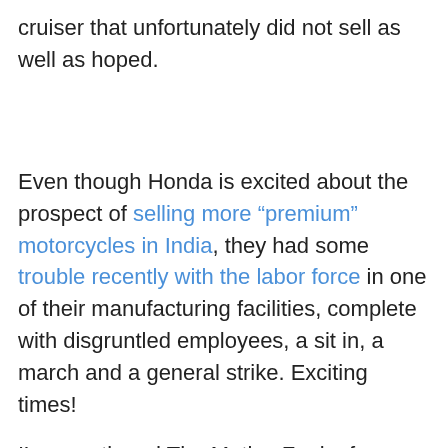cruiser that unfortunately did not sell as well as hoped.
Even though Honda is excited about the prospect of selling more “premium” motorcycles in India, they had some trouble recently with the labor force in one of their manufacturing facilities, complete with disgruntled employees, a sit in, a march and a general strike. Exciting times!
I’ve mentioned The Motley Fool a few times in previous episodes, mostly for their unrelenting